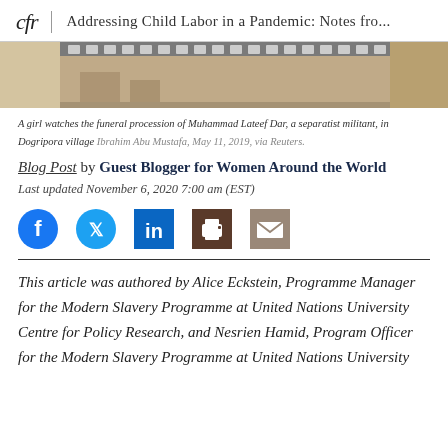cfr | Addressing Child Labor in a Pandemic: Notes fro...
[Figure (photo): Partial view of a photo strip/film strip at the top of the page showing a scene in Dogripora village]
A girl watches the funeral procession of Muhammad Lateef Dar, a separatist militant, in Dogripora village Ibrahim Abu Mustafa, May 11, 2019, via Reuters.
Blog Post by Guest Blogger for Women Around the World
Last updated November 6, 2020 7:00 am (EST)
[Figure (infographic): Social media sharing icons: Facebook, Twitter, LinkedIn, Print, Email]
This article was authored by Alice Eckstein, Programme Manager for the Modern Slavery Programme at United Nations University Centre for Policy Research, and Nesrien Hamid, Program Officer for the Modern Slavery Programme at United Nations University